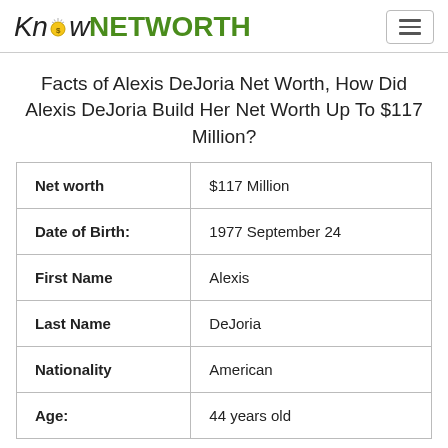KnowNETWORTH
Facts of Alexis DeJoria Net Worth, How Did Alexis DeJoria Build Her Net Worth Up To $117 Million?
|  |  |
| --- | --- |
| Net worth | $117 Million |
| Date of Birth: | 1977 September 24 |
| First Name | Alexis |
| Last Name | DeJoria |
| Nationality | American |
| Age: | 44 years old |